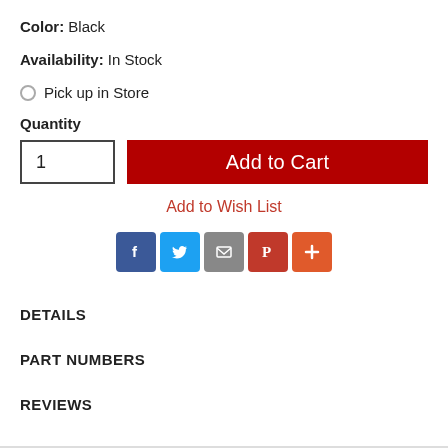Color: Black
Availability: In Stock
○ Pick up in Store
Quantity
1
Add to Cart
Add to Wish List
[Figure (infographic): Social sharing icons: Facebook (blue), Twitter (light blue), Email (gray), Pinterest (red), More/Plus (orange-red)]
DETAILS
PART NUMBERS
REVIEWS